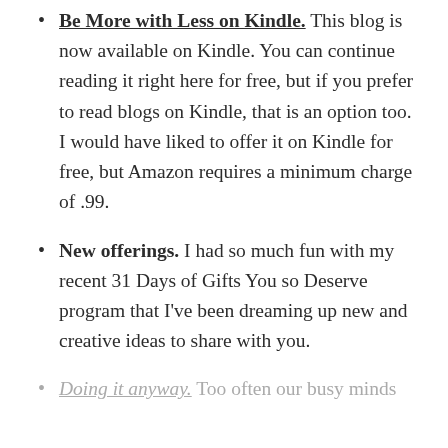Be More with Less on Kindle. This blog is now available on Kindle. You can continue reading it right here for free, but if you prefer to read blogs on Kindle, that is an option too. I would have liked to offer it on Kindle for free, but Amazon requires a minimum charge of .99.
New offerings. I had so much fun with my recent 31 Days of Gifts You so Deserve program that I've been dreaming up new and creative ideas to share with you.
Doing it anyway. Too often our busy minds